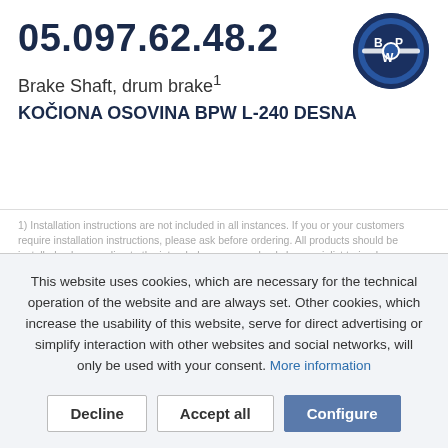05.097.62.48.2
[Figure (logo): BPW circular logo with blue circle border and BPW text with wheel/axle graphic]
Brake Shaft, drum brake¹
KOČIONA OSOVINA BPW L-240 DESNA
1) Installation instructions are not included in all instances. If you or your customers require installation instructions, please ask before ordering. All products should be installed only according to the intended purpose and only by specialist trained personnel. 2) The parts offered are
This website uses cookies, which are necessary for the technical operation of the website and are always set. Other cookies, which increase the usability of this website, serve for direct advertising or simplify interaction with other websites and social networks, will only be used with your consent. More information
Decline
Accept all
Configure